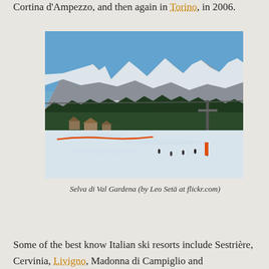Cortina d'Ampezzo, and then again in Torino, in 2006.
[Figure (photo): A snowy ski resort scene at Selva di Val Gardena showing the Dolomite mountains in the background, pine forest in the middle ground, and skiers on the snow-covered slopes in the foreground.]
Selva di Val Gardena (by Leo Setä at flickr.com)
Some of the best know Italian ski resorts include Sestrière, Cervinia, Livigno, Madonna di Campiglio and